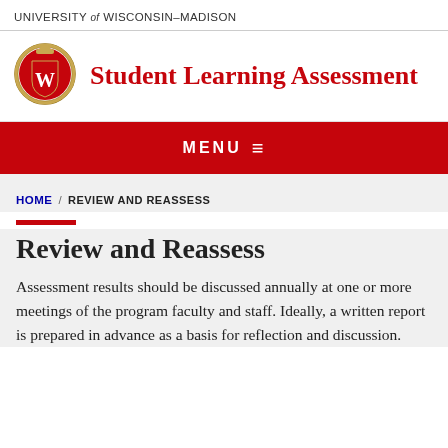UNIVERSITY of WISCONSIN–MADISON
[Figure (logo): University of Wisconsin–Madison crest/shield logo with a W on red background, circular gold border]
Student Learning Assessment
MENU ≡
HOME / REVIEW AND REASSESS
Review and Reassess
Assessment results should be discussed annually at one or more meetings of the program faculty and staff. Ideally, a written report is prepared in advance as a basis for reflection and discussion.